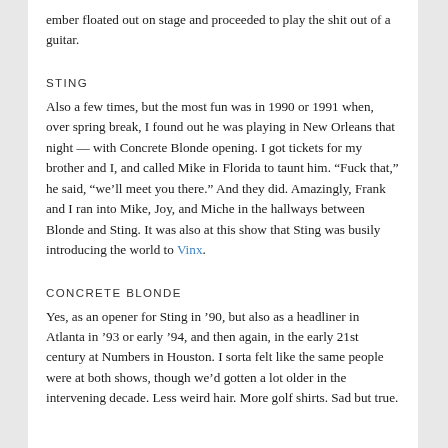ember floated out on stage and proceeded to play the shit out of a guitar.
STING
Also a few times, but the most fun was in 1990 or 1991 when, over spring break, I found out he was playing in New Orleans that night — with Concrete Blonde opening. I got tickets for my brother and I, and called Mike in Florida to taunt him. “Fuck that,” he said, “we’ll meet you there.” And they did. Amazingly, Frank and I ran into Mike, Joy, and Miche in the hallways between Blonde and Sting. It was also at this show that Sting was busily introducing the world to Vinx.
CONCRETE BLONDE
Yes, as an opener for Sting in ’90, but also as a headliner in Atlanta in ’93 or early ’94, and then again, in the early 21st century at Numbers in Houston. I sorta felt like the same people were at both shows, though we’d gotten a lot older in the intervening decade. Less weird hair. More golf shirts. Sad but true.